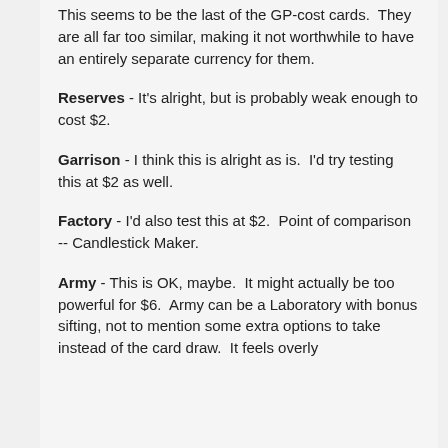This seems to be the last of the GP-cost cards. They are all far too similar, making it not worthwhile to have an entirely separate currency for them.
Reserves - It's alright, but is probably weak enough to cost $2.
Garrison - I think this is alright as is. I'd try testing this at $2 as well.
Factory - I'd also test this at $2. Point of comparison -- Candlestick Maker.
Army - This is OK, maybe. It might actually be too powerful for $6. Army can be a Laboratory with bonus sifting, not to mention some extra options to take instead of the card draw. It feels overly